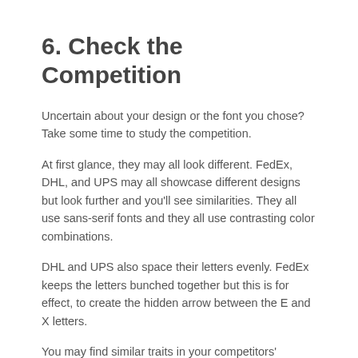6. Check the Competition
Uncertain about your design or the font you chose? Take some time to study the competition.
At first glance, they may all look different. FedEx, DHL, and UPS may all showcase different designs but look further and you'll see similarities. They all use sans-serif fonts and they all use contrasting color combinations.
DHL and UPS also space their letters evenly. FedEx keeps the letters bunched together but this is for effect, to create the hidden arrow between the E and X letters.
You may find similar traits in your competitors' animated logos. Do they all use sans-serif fonts? Are they all proportional fonts or do they all play tricks and swirls with a certain letter?